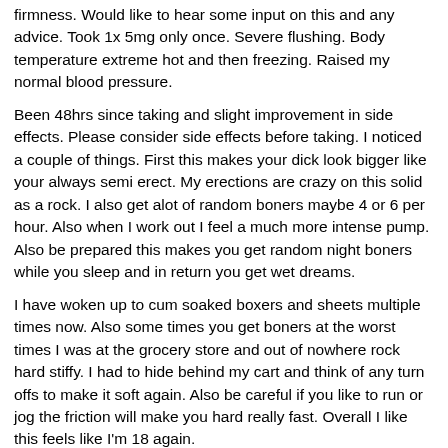firmness. Would like to hear some input on this and any advice. Took 1x 5mg only once. Severe flushing. Body temperature extreme hot and then freezing. Raised my normal blood pressure.
Been 48hrs since taking and slight improvement in side effects. Please consider side effects before taking. I noticed a couple of things. First this makes your dick look bigger like your always semi erect. My erections are crazy on this solid as a rock. I also get alot of random boners maybe 4 or 6 per hour. Also when I work out I feel a much more intense pump. Also be prepared this makes you get random night boners while you sleep and in return you get wet dreams.
I have woken up to cum soaked boxers and sheets multiple times now. Also some times you get boners at the worst times I was at the grocery store and out of nowhere rock hard stiffy. I had to hide behind my cart and think of any turn offs to make it soft again. Also be careful if you like to run or jog the friction will make you hard really fast. Overall I like this feels like I'm 18 again.
Erection is now much harder for longer - also penis is now much thicker much to my wife's enjoyment. When in a flaccid state penis also appears to be more 'hung'. Expect to get hard during the night while asleep my wife's observation and to wake up erect. I did a 3 day run with the medication. First night, 20 ml tabs, the next 2 I broke one in half, so 10 ml each of the following nights. I also took